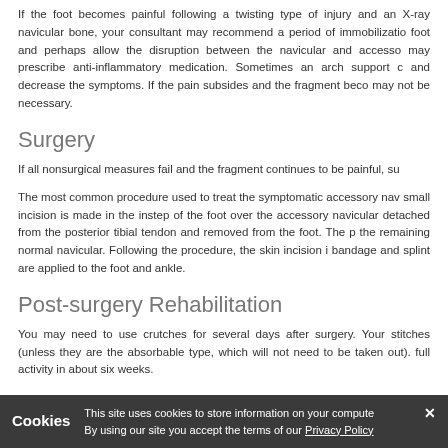If the foot becomes painful following a twisting type of injury and an X-ray navicular bone, your consultant may recommend a period of immobilization foot and perhaps allow the disruption between the navicular and accesso may prescribe anti-inflammatory medication. Sometimes an arch support c and decrease the symptoms. If the pain subsides and the fragment beco may not be necessary.
Surgery
If all nonsurgical measures fail and the fragment continues to be painful, su
The most common procedure used to treat the symptomatic accessory nav small incision is made in the instep of the foot over the accessory navicular detached from the posterior tibial tendon and removed from the foot. The p the remaining normal navicular. Following the procedure, the skin incision i bandage and splint are applied to the foot and ankle.
Post-surgery Rehabilitation
You may need to use crutches for several days after surgery. Your stitches (unless they are the absorbable type, which will not need to be taken out). full activity in about six weeks.
Cookies — This site uses cookies to store information on your computer. By using our site you accept the terms of our Privacy Policy